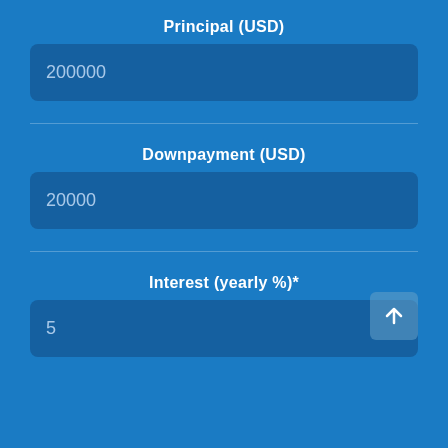Principal (USD)
200000
Downpayment (USD)
20000
Interest (yearly %)*
5